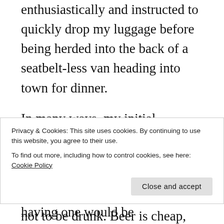enthusiastically and instructed to quickly drop my luggage before being herded into the back of a seatbelt-less van heading into town for dinner.
In many ways, my initial observations of Bali were not so different from many other countries I've visited; driving can be quite treacherous. Tap water is not to be drunk. Beer is cheap, anyway. We were told by our guide that women are expected to dress conservatively, but the heat deemed this impractical, and as Bali is one of the few islands in Indonesia that is not predominantly Muslim, shorts and tank tops and the like are not culturally frowned upon (aside from at holy sites such as temples
Privacy & Cookies: This site uses cookies. By continuing to use this website, you agree to their use.
To find out more, including how to control cookies, see here: Cookie Policy
it was immediately clear that having one would be